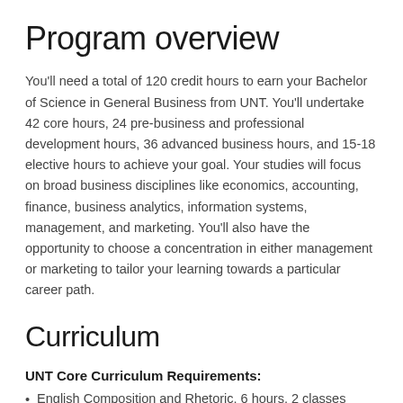Program overview
You'll need a total of 120 credit hours to earn your Bachelor of Science in General Business from UNT. You'll undertake 42 core hours, 24 pre-business and professional development hours, 36 advanced business hours, and 15-18 elective hours to achieve your goal. Your studies will focus on broad business disciplines like economics, accounting, finance, business analytics, information systems, management, and marketing. You'll also have the opportunity to choose a concentration in either management or marketing to tailor your learning towards a particular career path.
Curriculum
UNT Core Curriculum Requirements:
English Composition and Rhetoric, 6 hours, 2 classes